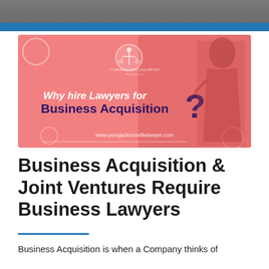[Figure (illustration): Pink/salmon colored promotional banner for a law firm. Features Lady Justice statue on the right side, text 'Why hire Lawyers for Business Acquisition?' in white and purple, a scales of justice logo/icon at top center, and website URL www.yourjacksonvillelawyer.com at bottom.]
Business Acquisition & Joint Ventures Require Business Lawyers
Business Acquisition is when a Company thinks of